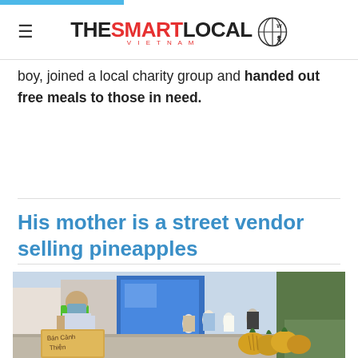THE SMART LOCAL VIETNAM
boy, joined a local charity group and handed out free meals to those in need.
His mother is a street vendor selling pineapples
[Figure (photo): A young boy wearing a blue face mask sits on a green plastic chair at a street stall with pineapples and a handwritten cardboard sign reading 'Bán Cành Thiện'. People wearing masks and hats are visible in the background on a city sidewalk.]